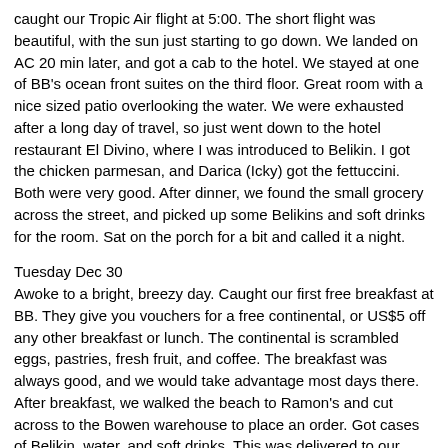caught our Tropic Air flight at 5:00. The short flight was beautiful, with the sun just starting to go down. We landed on AC 20 min later, and got a cab to the hotel. We stayed at one of BB's ocean front suites on the third floor. Great room with a nice sized patio overlooking the water. We were exhausted after a long day of travel, so just went down to the hotel restaurant El Divino, where I was introduced to Belikin. I got the chicken parmesan, and Darica (Icky) got the fettuccini. Both were very good. After dinner, we found the small grocery across the street, and picked up some Belikins and soft drinks for the room. Sat on the porch for a bit and called it a night.
Tuesday Dec 30
Awoke to a bright, breezy day. Caught our first free breakfast at BB. They give you vouchers for a free continental, or US$5 off any other breakfast or lunch. The continental is scrambled eggs, pastries, fresh fruit, and coffee. The breakfast was always good, and we would take advantage most days there. After breakfast, we walked the beach to Ramon's and cut across to the Bowen warehouse to place an order. Got cases of Belikin, water, and soft drinks. This was delivered to our room later in the day, and is definitely the cheap way to go. Continued walking into town to take it all in, and do some shopping. Caught a cab back to BB, hit the beach for a while, and then tried the pool. Very nice. We set up a trip to Shark Ray/Hol Chan tomorrow for